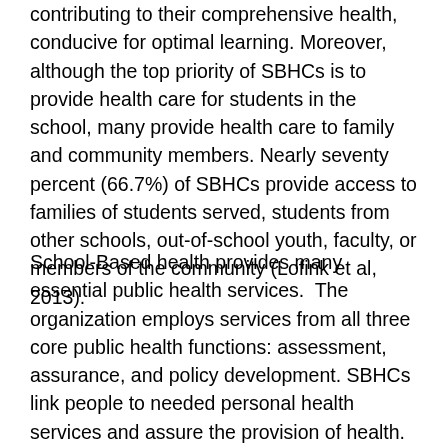contributing to their comprehensive health, conducive for optimal learning. Moreover, although the top priority of SBHCs is to provide health care for students in the school, many provide health care to family and community members. Nearly seventy percent (66.7%) of SBHCs provide access to families of students served, students from other schools, out-of-school youth, faculty, or members of the community (Lofink et al, 2013).
School-Based health provides many essential public health services.  The organization employs services from all three core public health functions: assessment, assurance, and policy development. SBHCs link people to needed personal health services and assure the provision of health. Services provided improve health of the community as well as improve students learning abilities by decreasing barriers that may accompany lack of health care resources. As part of health assessment, monitoring, investigation and diagnosis of health conditions is delivered in service to the population. Prevention efforts, early detection and